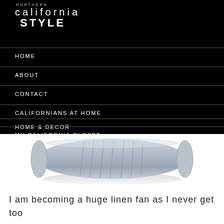NORTHERN california STYLE
HOME
ABOUT
CONTACT
CALIFORNIANS AT HOME
HOME & DECOR
MY CALIFORNIA CLOSET
[Figure (photo): A rolled gray linen blanket]
I am becoming a huge linen fan as I never get too hot or cold with the linen sheets and blanket that